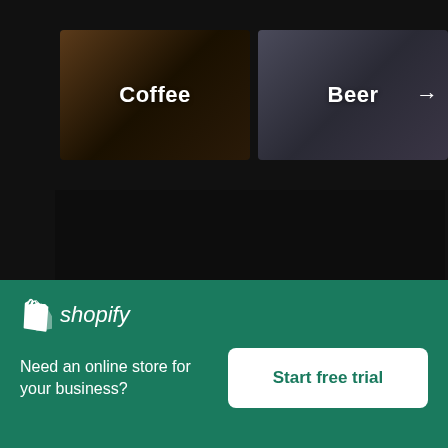[Figure (screenshot): Coffee category card with dark background showing coffee-related image]
[Figure (screenshot): Beer category card with brick wall background and right arrow]
[Figure (screenshot): Dark panel area below category cards]
×
[Figure (logo): Shopify logo — shopping bag icon with letter S and italic shopify wordmark in white]
Need an online store for your business?
Start free trial